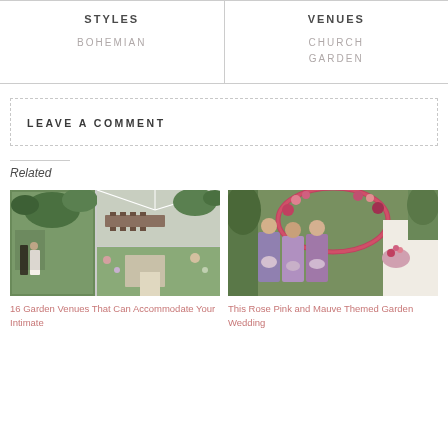| STYLES | VENUES |
| --- | --- |
| BOHEMIAN | CHURCH
GARDEN |
LEAVE A COMMENT
Related
[Figure (photo): Collage of garden wedding venue photos showing outdoor ceremony and reception spaces with greenery.]
16 Garden Venues That Can Accommodate Your Intimate
[Figure (photo): Photo of bridesmaids in mauve/purple dresses at a garden wedding with floral arch.]
This Rose Pink and Mauve Themed Garden Wedding